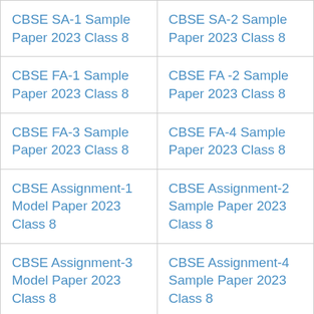| CBSE SA-1 Sample Paper 2023 Class 8 | CBSE SA-2 Sample Paper 2023 Class 8 |
| CBSE FA-1 Sample Paper 2023 Class 8 | CBSE FA -2 Sample Paper 2023 Class 8 |
| CBSE FA-3 Sample Paper 2023 Class 8 | CBSE FA-4 Sample Paper 2023 Class 8 |
| CBSE Assignment-1 Model Paper 2023 Class 8 | CBSE Assignment-2 Sample Paper 2023 Class 8 |
| CBSE Assignment-3 Model Paper 2023 Class 8 | CBSE Assignment-4 Sample Paper 2023 Class 8 |
| CBSE Hindi Sample Paper 2023 Class 8 | CBSE English Sample Paper 2023 Class 8 |